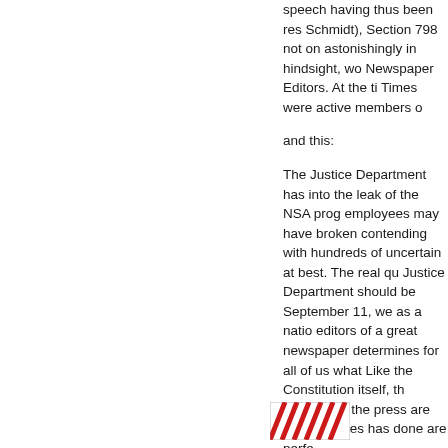speech having thus been res Schmidt), Section 798 not on astonishingly in hindsight, wo Newspaper Editors. At the ti Times were active members o
and this:
The Justice Department has into the leak of the NSA prog employees may have broken contending with hundreds of uncertain at best. The real qu Justice Department should be September 11, we as a natio editors of a great newspaper determines for all of us what Like the Constitution itself, th freedom of the press are not the Times has done are perfe
read the whole thing!
[Figure (logo): Red and white striped logo or emblem at bottom center of page]